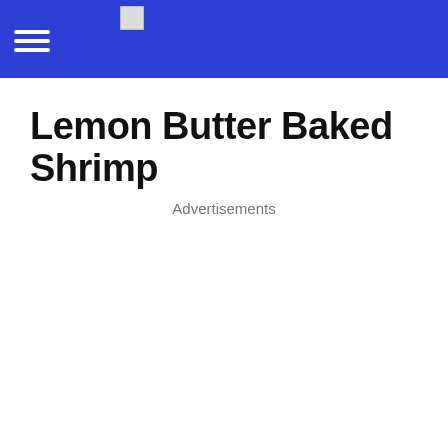Lemon Butter Baked Shrimp
Advertisements
Shrimp is very delicious, no matter how you prepare it will